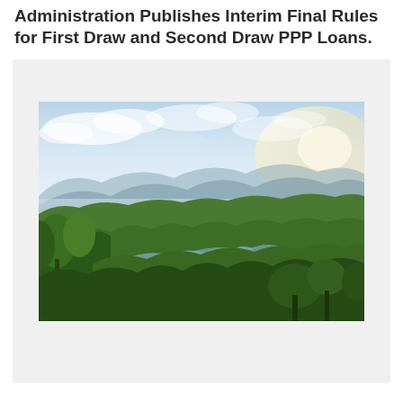Administration Publishes Interim Final Rules for First Draw and Second Draw PPP Loans.
[Figure (photo): Aerial photograph of a tropical rainforest landscape with a river or lake winding through dense green jungle, misty mountains in the background, and a bright sky with clouds and sunlight.]